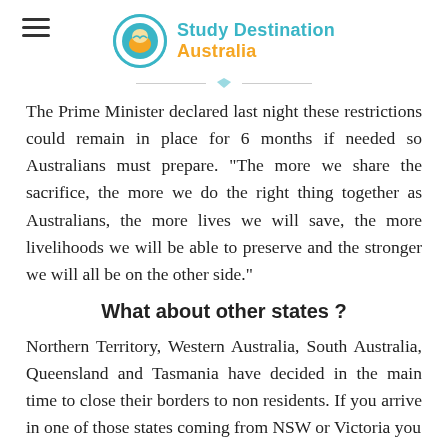Study Destination Australia
The Prime Minister declared last night these restrictions could remain in place for 6 months if needed so Australians must prepare. "The more we share the sacrifice, the more we do the right thing together as Australians, the more lives we will save, the more livelihoods we will be able to preserve and the stronger we will all be on the other side."
What about other states ?
Northern Territory, Western Australia, South Australia, Queensland and Tasmania have decided in the main time to close their borders to non residents. If you arrive in one of those states coming from NSW or Victoria you